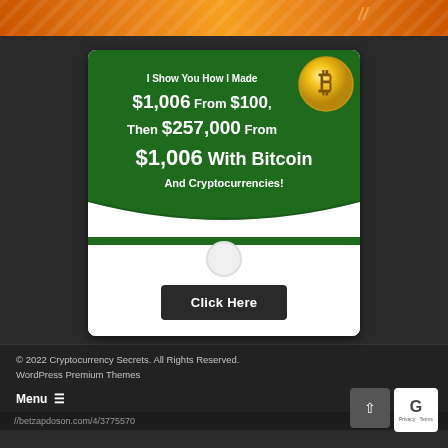[Figure (illustration): Orange/gold banner with diagonal stripes at top of page, partially visible]
[Figure (infographic): Green advertisement banner with Bitcoin coin logo. Text reads: I Show You How I Made $1,006 From $100, Then $257,000 From $1,006 With Bitcoin And Cryptocurrencies! with a Click Here button]
© 2022 Cryptocurrency Secrets. All Rights Reserved. WordPress Premium Themes
Menu ≡
//betzapdoson.com/4/3775570